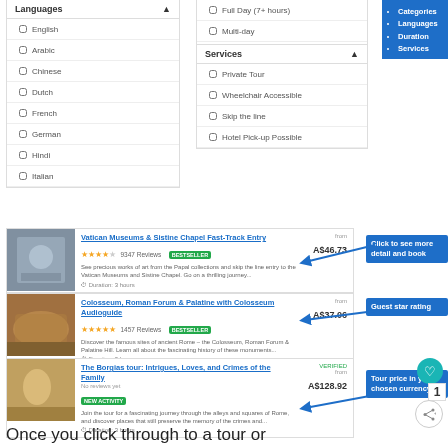Languages filter panel with: English, Arabic, Chinese, Dutch, French, German, Hindi, Italian
Duration filters: Full Day (7+ hours), Multi-day
Services filter panel with: Private Tour, Wheelchair Accessible, Skip the line, Hotel Pick-up Possible
Blue callout: Categories, Languages, Duration, Services
[Figure (screenshot): Vatican Museums & Sistine Chapel Fast-Track Entry tour listing with image, 4.5 star rating, 9347 Reviews, BESTSELLER badge, description, Duration: 3 hours, price A$46.73]
[Figure (screenshot): Colosseum, Roman Forum & Palatine with Colosseum Audioguide tour listing with image, 4.5 star rating, 1457 Reviews, BESTSELLER badge, description, Duration: 3 hours, price A$37.06]
[Figure (screenshot): The Borgias tour: Intrigues, Loves, and Crimes of the Family listing, No reviews yet, NEW ACTIVITY badge, Duration: 3 hours, price A$128.92]
Click to see more detail and book
Guest star rating
Tour price in you chosen currency
Once you click through to a tour or